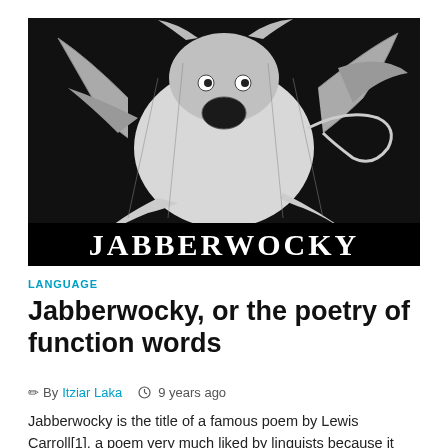[Figure (illustration): Black and white illustration of the Jabberwocky creature from Lewis Carroll, with the word JABBERWOCKY displayed in large white capital letters on a black banner at the bottom of the image.]
LANGUAGE
Jabberwocky, or the poetry of function words
By Itziar Laka   9 years ago
Jabberwocky is the title of a famous poem by Lewis Carroll[1], a poem very much liked by linguists because it